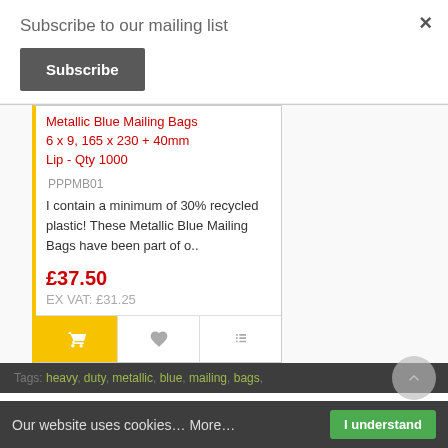Subscribe to our mailing list
Subscribe
Metallic Blue Mailing Bags 6 x 9, 165 x 230 + 40mm Lip - Qty 1000
PPPMB01
I contain a minimum of 30% recycled plastic! These Metallic Blue Mailing Bags have been part of o..
£37.50
EX VAT: £31.25
Tags: heavy, duty, metallic, blue, mailing, bags,
Our website uses cookies… More…
I understand